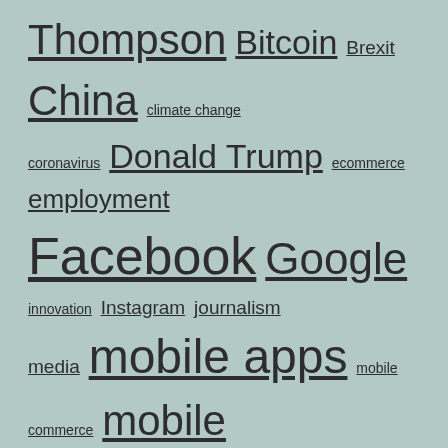[Figure (infographic): Tag cloud with links of various font sizes on a teal/sage green background. Tags include: Thompson, Bitcoin, Brexit, China, climate change, coronavirus, Donald Trump, ecommerce, employment, Facebook, Google, innovation, Instagram, journalism, media, mobile apps, mobile commerce, mobile internet, music, Ofcom, online media, online video, Pew Research, pinterest, podcast, publishing, retail, smartphones, Snapchat, social media, startup, tablets, The Economist, Thought Starters, Twitter, Uber, venture capital, web journalism]
Get new posts by email
Enter your email